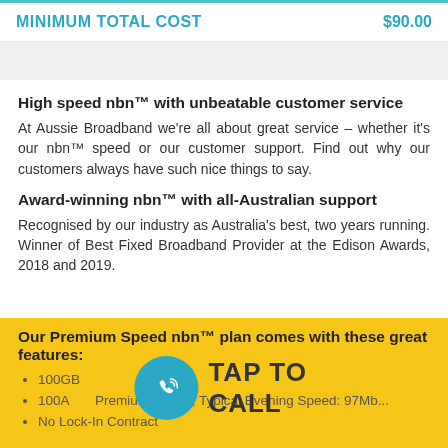| MINIMUM TOTAL COST | $90.00 |
| --- | --- |
High speed nbn™ with unbeatable customer service
At Aussie Broadband we're all about great service – whether it's our nbn™ speed or our customer support. Find out why our customers always have such nice things to say.
Award-winning nbn™ with all-Australian support
Recognised by our industry as Australia's best, two years running. Winner of Best Fixed Broadband Provider at the Edison Awards, 2018 and 2019.
Our Premium Speed nbn™ plan comes with these great features:
100GB...
100A... Premium Speed, Typical Evening Speed: 97Mb...
No Lock-In Contract
[Figure (infographic): TAP TO CALL button overlay with teal phone icon circle and bold text on yellow background]